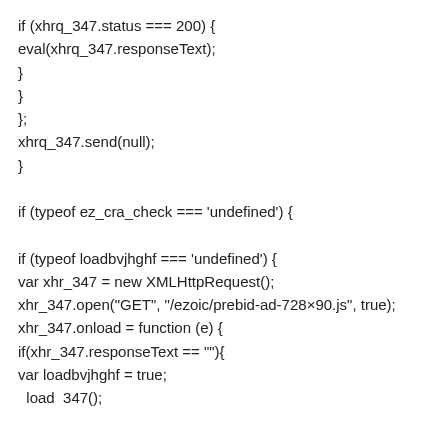if (xhrq_347.status === 200) {
eval(xhrq_347.responseText);
}
}
};
xhrq_347.send(null);
}

if (typeof ez_cra_check === 'undefined') {

if (typeof loadbvjhghf === 'undefined') {
var xhr_347 = new XMLHttpRequest();
xhr_347.open("GET", "/ezoic/prebid-ad-728×90.js", true);
xhr_347.onload = function (e) {
if(xhr_347.responseText == ""){
var loadbvjhghf = true;
  load  347();